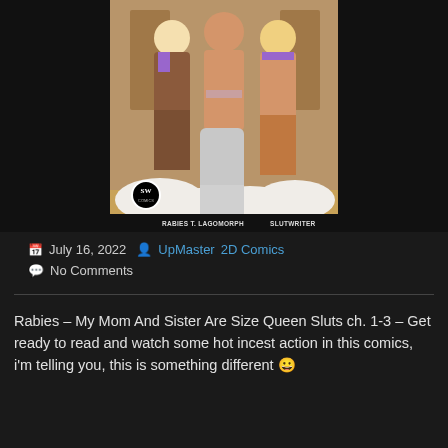[Figure (illustration): Comic book cover illustration showing three muscular figures in a locker room setting. Bottom text reads 'RABIES T. LAGOMORPH' on left and 'SLUTWRITER' on right, with SW Comics logo bottom left.]
July 16, 2022  UpMaster  2D Comics
No Comments
Rabies – My Mom And Sister Are Size Queen Sluts ch. 1-3 – Get ready to read and watch some hot incest action in this comics, i'm telling you, this is something different 😀